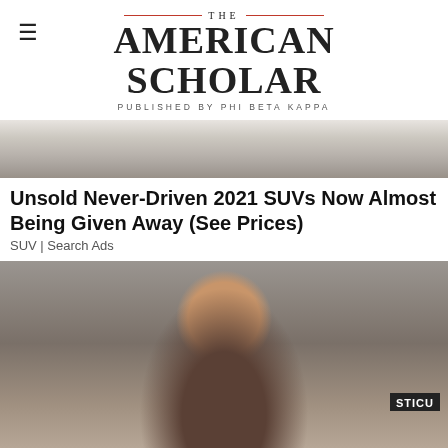THE AMERICAN SCHOLAR — PUBLISHED BY PHI BETA KAPPA
[Figure (photo): Partial view of a marble or stone surface — top portion of an advertisement image]
Unsold Never-Driven 2021 SUVs Now Almost Being Given Away (See Prices)
SUV | Search Ads
[Figure (photo): A young woman wearing scrubs and a headband sits at a hospital nursing station desk; a label reading 'STICU' is visible on equipment to the right]